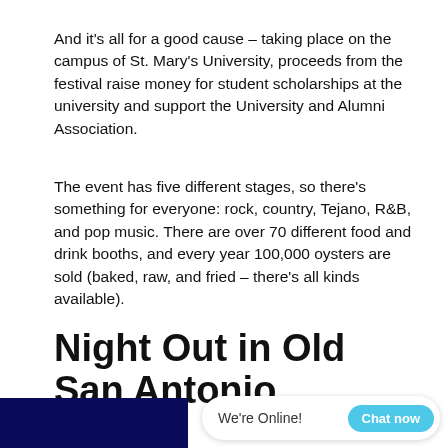And it's all for a good cause – taking place on the campus of St. Mary's University, proceeds from the festival raise money for student scholarships at the university and support the University and Alumni Association.
The event has five different stages, so there's something for everyone: rock, country, Tejano, R&B, and pop music. There are over 70 different food and drink booths, and every year 100,000 oysters are sold (baked, raw, and fried – there's all kinds available).
Night Out in Old San Antonio